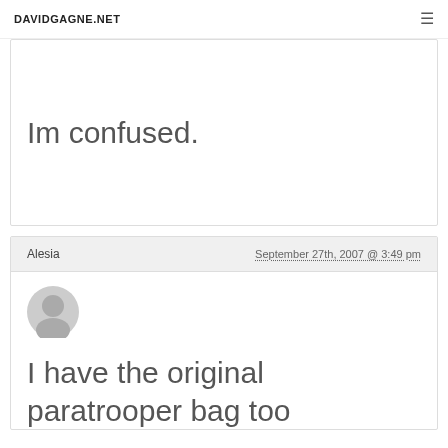DAVIDGAGNE.NET
Im confused.
Alesia  September 27th, 2007 @ 3:49 pm
[Figure (illustration): Generic user avatar placeholder icon in grey]
I have the original paratrooper bag too